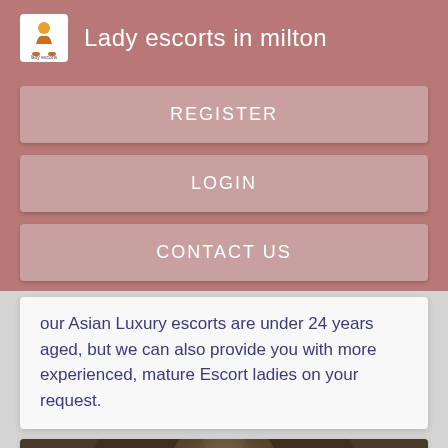Lady escorts in milton
REGISTER
LOGIN
CONTACT US
our Asian Luxury escorts are under 24 years aged, but we can also provide you with more experienced, mature Escort ladies on your request.
[Figure (photo): Portrait photo of a woman with blonde hair, cropped at top of frame]